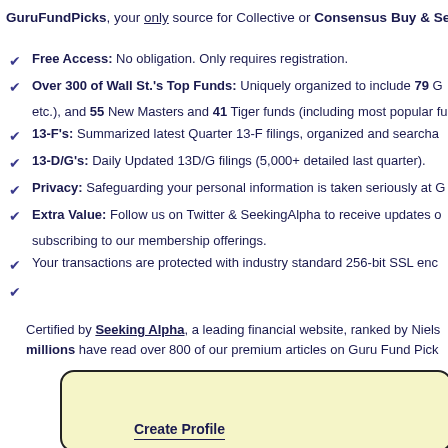GuruFundPicks, your only source for Collective or Consensus Buy & Sell P
Free Access: No obligation. Only requires registration.
Over 300 of Wall St.'s Top Funds: Uniquely organized to include 79 G etc.), and 55 New Masters and 41 Tiger funds (including most popular fu
13-F's: Summarized latest Quarter 13-F filings, organized and searcha
13-D/G's: Daily Updated 13D/G filings (5,000+ detailed last quarter).
Privacy: Safeguarding your personal information is taken seriously at G
Extra Value: Follow us on Twitter & SeekingAlpha to receive updates o subscribing to our membership offerings.
Your transactions are protected with industry standard 256-bit SSL enc
Certified by Seeking Alpha, a leading financial website, ranked by Niels millions have read over 800 of our premium articles on Guru Fund Pick
Create Profile